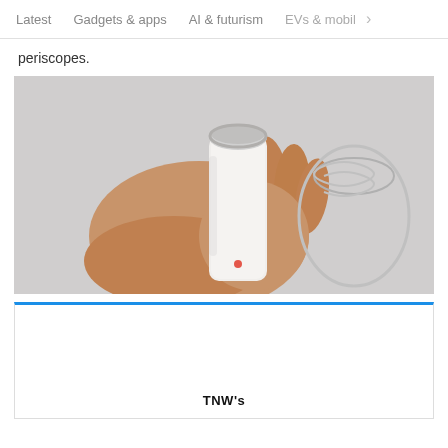Latest   Gadgets & apps   AI & futurism   EVs & mobil  >
periscopes.
[Figure (photo): A hand holding a small white handheld device with a cylindrical grip and an angled silver-rimmed top. In the background there is a glass or plastic accessory item.]
[Figure (other): Advertisement box with blue top border and TNW's logo at the bottom center.]